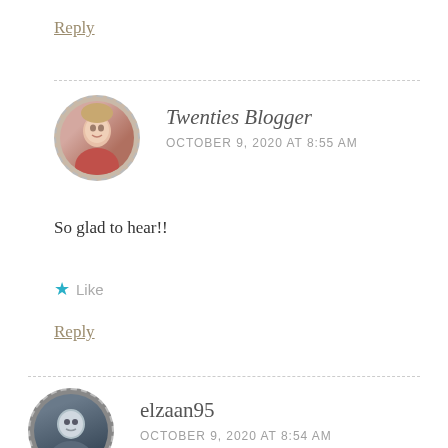Reply
Twenties Blogger
OCTOBER 9, 2020 AT 8:55 AM
So glad to hear!!
Like
Reply
elzaan95
OCTOBER 9, 2020 AT 8:54 AM
I really needed this post! I'm one of those people that